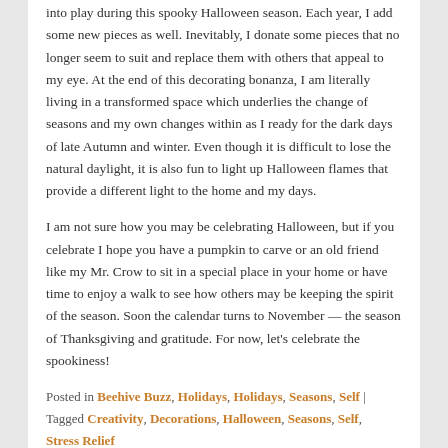into play during this spooky Halloween season. Each year, I add some new pieces as well. Inevitably, I donate some pieces that no longer seem to suit and replace them with others that appeal to my eye. At the end of this decorating bonanza, I am literally living in a transformed space which underlies the change of seasons and my own changes within as I ready for the dark days of late Autumn and winter. Even though it is difficult to lose the natural daylight, it is also fun to light up Halloween flames that provide a different light to the home and my days.
I am not sure how you may be celebrating Halloween, but if you celebrate I hope you have a pumpkin to carve or an old friend like my Mr. Crow to sit in a special place in your home or have time to enjoy a walk to see how others may be keeping the spirit of the season. Soon the calendar turns to November — the season of Thanksgiving and gratitude. For now, let's celebrate the spookiness!
Posted in Beehive Buzz, Holidays, Holidays, Seasons, Self | Tagged Creativity, Decorations, Halloween, Seasons, Self, Stress Relief